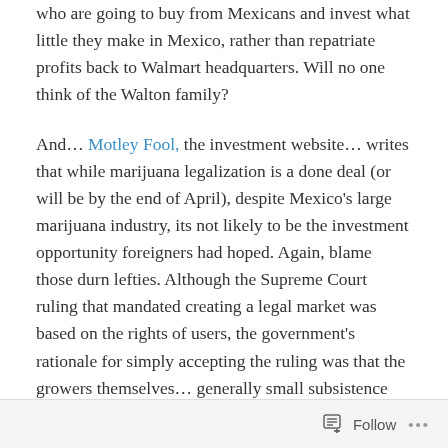who are going to buy from Mexicans and invest what little they make in Mexico, rather than repatriate profits back to Walmart headquarters.  Will no one think of the Walton family?
And… Motley Fool, the investment website… writes that while marijuana legalization is a done deal (or will be by the end of April), despite Mexico's large marijuana industry, its not likely to be the investment opportunity foreigners had hoped.  Again, blame those durn lefties.  Although the Supreme Court ruling that mandated creating a legal market was based on the rights of users, the government's rationale for simply accepting the ruling was that the growers themselves… generally small subsistence farmers… need a cash crop — a legal cash [crop to help them survive]
Follow ···